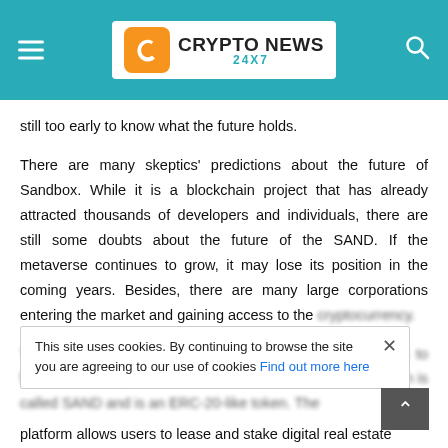CRYPTO NEWS 24X7
still too early to know what the future holds.
There are many skeptics' predictions about the future of Sandbox. While it is a blockchain project that has already attracted thousands of developers and individuals, there are still some doubts about the future of the SAND. If the metaverse continues to grow, it may lose its position in the coming years. Besides, there are many large corporations entering the market and gaining access to the cryptocurrency.
The Sandbox is a blockchain-based metaverse that aims to foster community interaction between people. Its native token is called SAND and is an ERC-20-like token. The platform allows users to lease and stake digital real estate
This site uses cookies. By continuing to browse the site you are agreeing to our use of cookies Find out more here